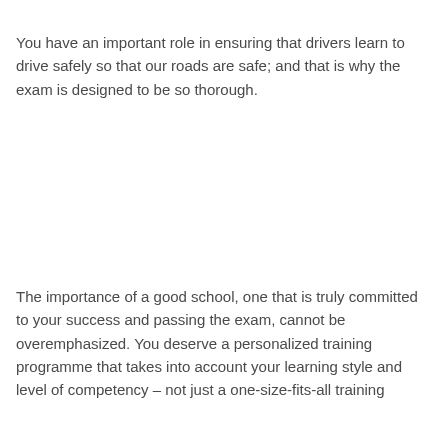You have an important role in ensuring that drivers learn to drive safely so that our roads are safe; and that is why the exam is designed to be so thorough.
The importance of a good school, one that is truly committed to your success and passing the exam, cannot be overemphasized. You deserve a personalized training programme that takes into account your learning style and level of competency – not just a one-size-fits-all training